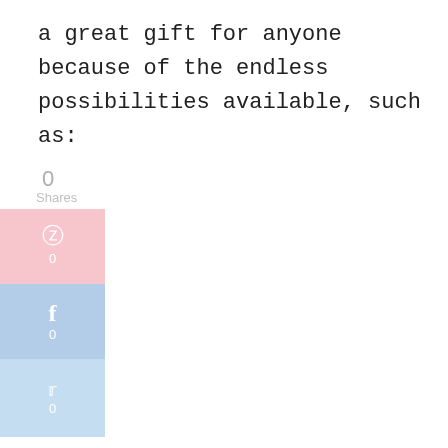a great gift for anyone because of the endless possibilities available, such as:
[Figure (infographic): Social share widget showing 0 total shares, with Pinterest (pink), Facebook (blue), and Twitter (light blue) share buttons each showing 0 counts, and a plus button below.]